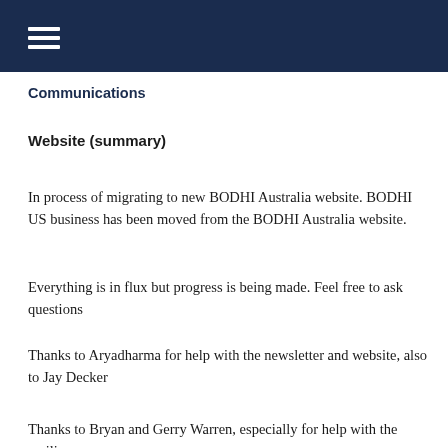☰
Communications
Website (summary)
In process of migrating to new BODHI Australia website. BODHI US business has been moved from the BODHI Australia website.
Everything is in flux but progress is being made. Feel free to ask questions
Thanks to Aryadharma for help with the newsletter and website, also to Jay Decker
Thanks to Bryan and Gerry Warren, especially for help with the mailing